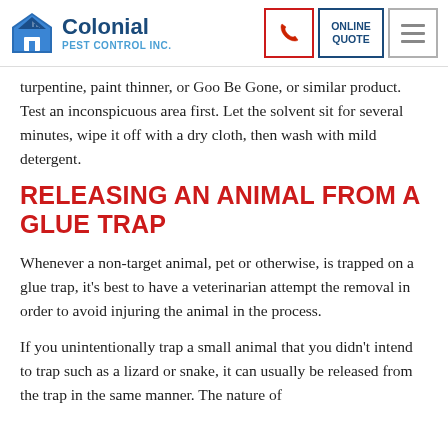Colonial Pest Control Inc. — navigation header with phone, online quote, and menu buttons
turpentine, paint thinner, or Goo Be Gone, or similar product. Test an inconspicuous area first. Let the solvent sit for several minutes, wipe it off with a dry cloth, then wash with mild detergent.
RELEASING AN ANIMAL FROM A GLUE TRAP
Whenever a non-target animal, pet or otherwise, is trapped on a glue trap, it's best to have a veterinarian attempt the removal in order to avoid injuring the animal in the process.
If you unintentionally trap a small animal that you didn't intend to trap such as a lizard or snake, it can usually be released from the trap in the same manner. The nature of